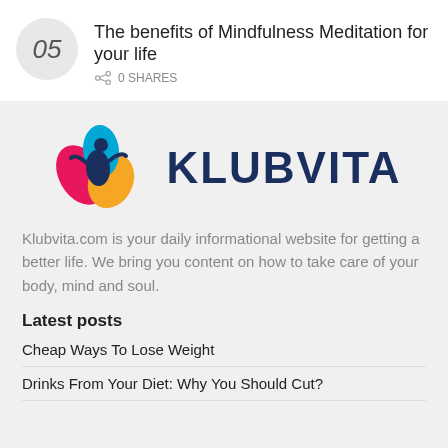The benefits of Mindfulness Meditation for your life
0 SHARES
[Figure (logo): Klubvita logo with colorful figure (pink, yellow, blue petals with human figure) and KLUBVITA text in dark navy]
Klubvita.com is your daily informational website for getting a better life. We bring you content on how to take care of your body, mind and soul.
Latest posts
Cheap Ways To Lose Weight
Drinks From Your Diet: Why You Should Cut?